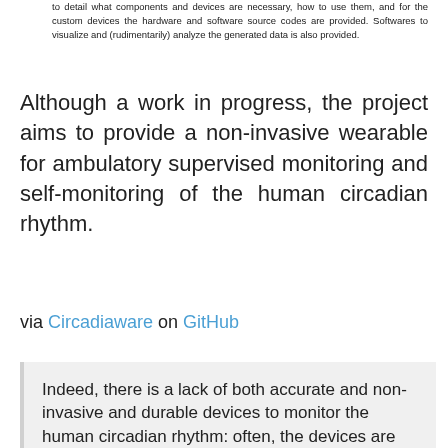to detail what components and devices are necessary, how to use them, and for the custom devices the hardware and software source codes are provided. Softwares to visualize and (rudimentarily) analyze the generated data is also provided.
Although a work in progress, the project aims to provide a non-invasive wearable for ambulatory supervised monitoring and self-monitoring of the human circadian rhythm.
via Circadiaware on GitHub
Indeed, there is a lack of both accurate and non-invasive and durable devices to monitor the human circadian rhythm: often, the devices are invasive (such as for core body temperature sensing), or are inaccurate (wrist PPG instead of ECG, low sampling rate), and even when these two criteria are met, most devices cannot last at least 24h, which makes them unusable to monitor a full circadian cycle, especially for circadian rhythm disorders such as non-24 where one cycle can be much longer than 24h.